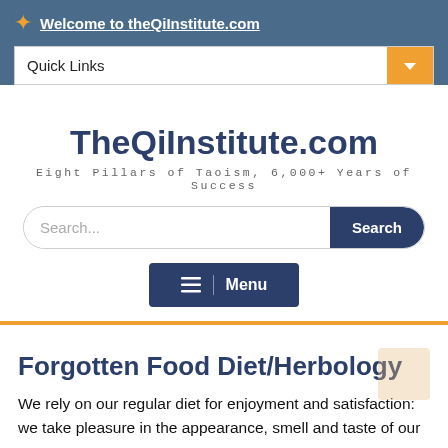Welcome to theQiInstitute.com
Quick Links
TheQiInstitute.com
Eight Pillars of Taoism, 6,000+ Years of Success
Forgotten Food Diet/Herbology
We rely on our regular diet for enjoyment and satisfaction: we take pleasure in the appearance, smell and taste of our